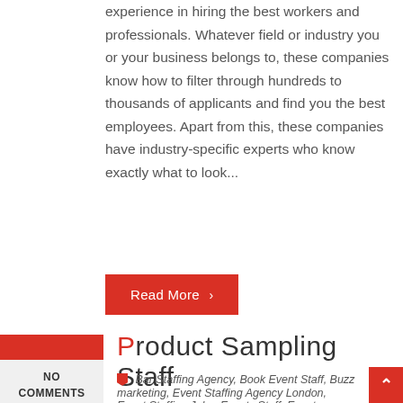experience in hiring the best workers and professionals. Whatever field or industry you or your business belongs to, these companies know how to filter through hundreds to thousands of applicants and find you the best employees. Apart from this, these companies have industry-specific experts who know exactly what to look...
Read More >
NO COMMENTS
Product Sampling Staff
Bar Staffing Agency, Book Event Staff, Buzz marketing, Event Staffing Agency London, Event Staffing Jobs, Events Staff, Events Staffing Agency,